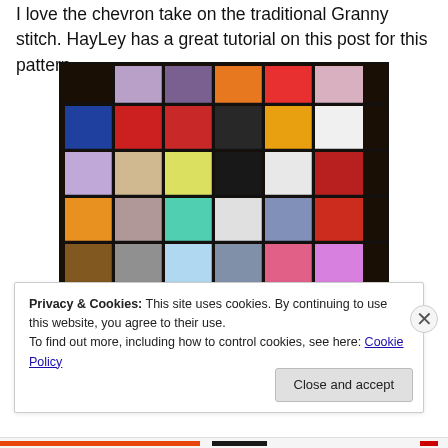I love the chevron take on the traditional Granny stitch. HayLey has a great tutorial on this post for this pattern.
[Figure (photo): A colorful patchwork knitted/crocheted blanket made of many square patches in various colors (red, orange, yellow, green, teal, purple, blue, pink, gray, white, black, multicolor) with dark border, laid flat and photographed from above.]
Privacy & Cookies: This site uses cookies. By continuing to use this website, you agree to their use.
To find out more, including how to control cookies, see here: Cookie Policy
Close and accept